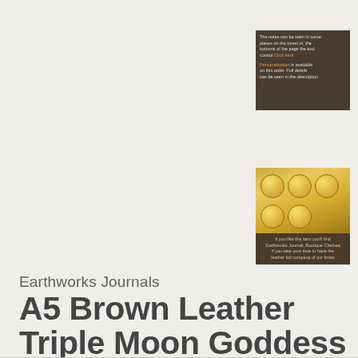[Figure (screenshot): Small thumbnail image showing a dark brown informational box with white text and an orange hyperlink, positioned top-right corner]
[Figure (photo): Small thumbnail image showing golden/yellow circular coin or medallion objects on a brown background with a brown caption strip below]
Earthworks Journals
A5 Brown Leather Triple Moon Goddess Journal, Book of Shadows - Hand Bound
£69.90
Personalisation (Add details at checkout)